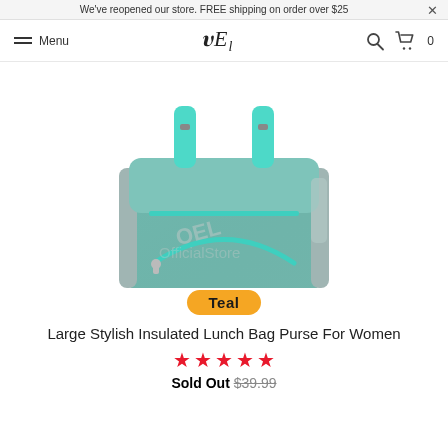We've reopened our store. FREE shipping on order over $25
[Figure (logo): Navigation bar with hamburger menu icon, Menu text, OEL logo, search icon, and cart with 0 items]
[Figure (photo): Teal/mint colored large insulated lunch bag backpack purse with turquoise handles and zipper accents, shown on white background with watermark]
Teal
Large Stylish Insulated Lunch Bag Purse For Women
★★★★★
Sold Out $39.99